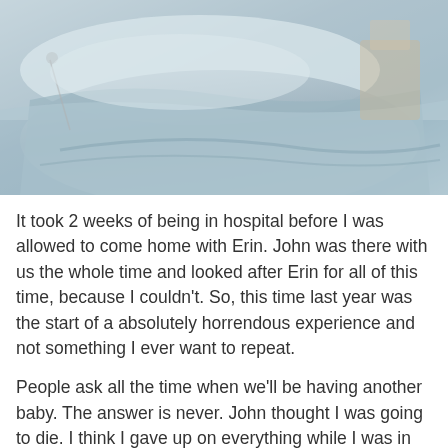[Figure (photo): Person lying in a hospital bed covered with a light blue/grey blanket, hospital setting visible in background]
It took 2 weeks of being in hospital before I was allowed to come home with Erin. John was there with us the whole time and looked after Erin for all of this time, because I couldn't. So, this time last year was the start of a absolutely horrendous experience and not something I ever want to repeat.
People ask all the time when we'll be having another baby. The answer is never. John thought I was going to die. I think I gave up on everything while I was in hospital. I still have infections every single month because of that hellish c-section. My little girl is absolutely perfect and I would do it all again in a heartbeat to make sure we had her but god I never want to do it again!